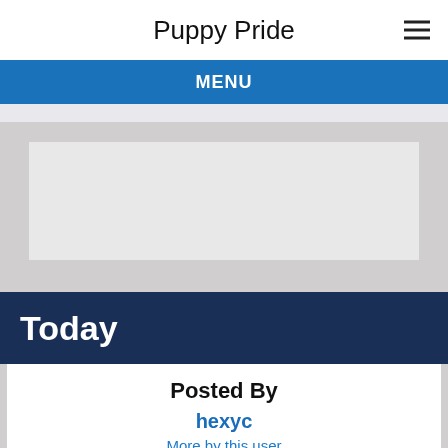Puppy Pride
MENU
[Figure (other): Advertisement placeholder box]
Today
Posted By
hexyc
More by this user
Published On Monday, August 17, 2015